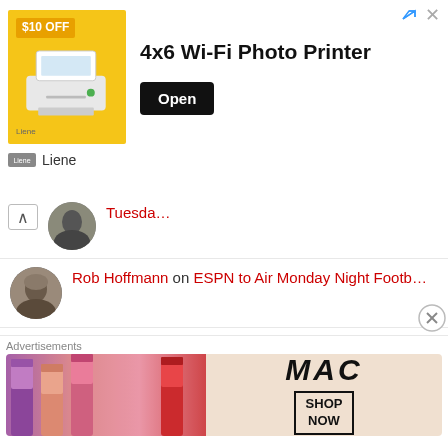[Figure (screenshot): Advertisement banner for Liene 4x6 Wi-Fi Photo Printer with yellow product image on left, bold title text, and black Open button. Brand name 'Liene' shown below.]
Tuesda…
Rob Hoffmann on ESPN to Air Monday Night Footb…
Sarah Jean Close on NBC SPORTS PRESENTS LIVE COVER…
richard j boucher on NBC SPORTS PRESENTS LIVE COVER…
Omari on Patrick Mahomes & Lamar Ja…
[Figure (screenshot): MAC cosmetics advertisement showing lipsticks and 'SHOP NOW' button]